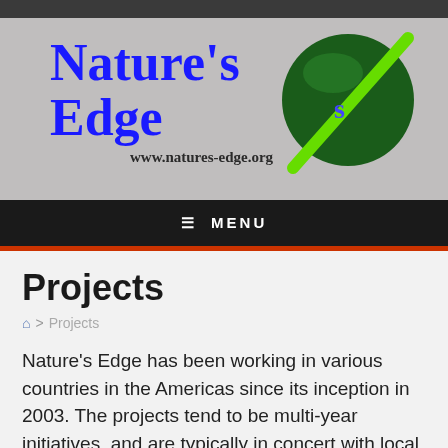[Figure (logo): Nature's Edge logo with blue serif text 'Nature's Edge', green circle with diagonal green line, and URL www.natures-edge.org]
≡ MENU
Projects
🏠 > Projects
Nature's Edge has been working in various countries in the Americas since its inception in 2003. The projects tend to be multi-year initiatives, and are typically in concert with local biologists, museums, art galleries and